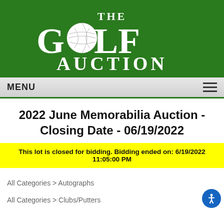[Figure (logo): The Golf Auction logo — white serif text 'THE GOLF AUCTION' on a green background with a golf ball replacing the O in GOLF]
MENU
2022 June Memorabilia Auction - Closing Date - 06/19/2022
This lot is closed for bidding. Bidding ended on: 6/19/2022 11:05:00 PM
All Categories > Autographs
All Categories > Clubs/Putters